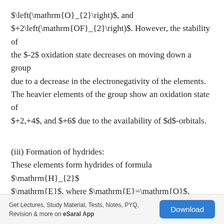$\left(\mathrm{O}_{2}\right)$, and $+2\left(\mathrm{OF}_{2}\right)$. However, the stability of the $-2$ oxidation state decreases on moving down a group due to a decrease in the electronegativity of the elements. The heavier elements of the group show an oxidation state of $+2,+4$, and $+6$ due to the availability of $d$-orbitals.
(iii) Formation of hydrides: These elements form hydrides of formula $\mathrm{H}_{2}\mathrm{E}$, where $\mathrm{E}=\mathrm{O}, \mathrm{S}$, Se, Te, PO. Oxygen and sulphur also form hydrides of type $\mathrm{H}_{2} \mathrm{E}_{2}$. These hydrides are quite volatile in nature.
Get Lectures, Study Material, Tests, Notes, PYQ, Revision & more on eSaral App